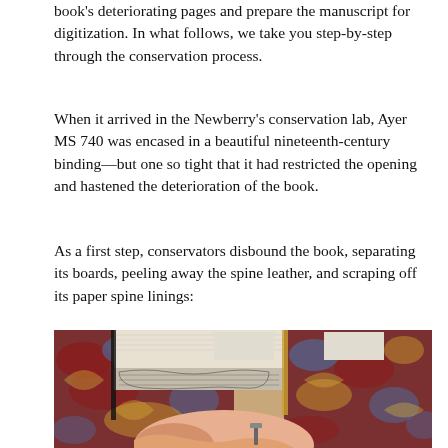book's deteriorating pages and prepare the manuscript for digitization. In what follows, we take you step-by-step through the conservation process.
When it arrived in the Newberry's conservation lab, Ayer MS 740 was encased in a beautiful nineteenth-century binding—but one so tight that it had restricted the opening and hastened the deterioration of the book.
As a first step, conservators disbound the book, separating its boards, peeling away the spine leather, and scraping off its paper spine linings:
[Figure (photo): Close-up photograph of a book being disbound. The book has a decorative marbled cover with red, blue, and gold patterns. A person's hand is visible at the bottom, using a tool to separate the book's spine. A printed paper spine lining with ornamental patterns is visible being peeled away from the book block.]